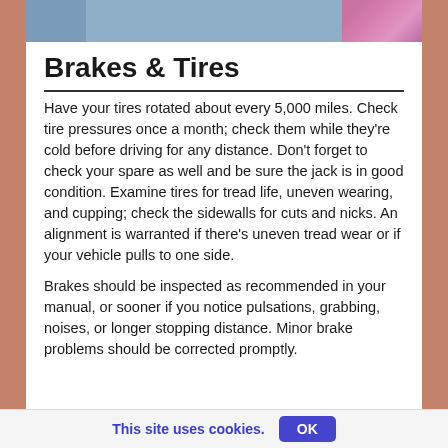[Figure (photo): Partial photo of people, cropped at top of page, showing clothing details including blue and pink checkered fabric]
Brakes & Tires
Have your tires rotated about every 5,000 miles. Check tire pressures once a month; check them while they're cold before driving for any distance. Don't forget to check your spare as well and be sure the jack is in good condition. Examine tires for tread life, uneven wearing, and cupping; check the sidewalls for cuts and nicks. An alignment is warranted if there's uneven tread wear or if your vehicle pulls to one side.
Brakes should be inspected as recommended in your manual, or sooner if you notice pulsations, grabbing, noises, or longer stopping distance. Minor brake problems should be corrected promptly.
This site uses cookies. OK